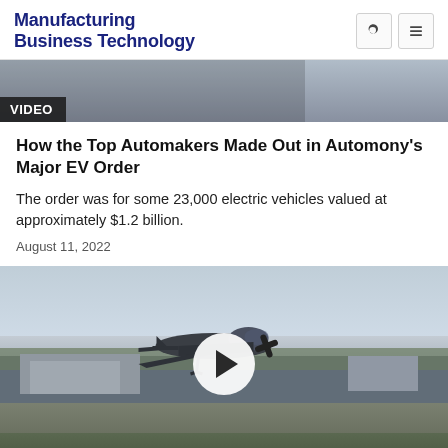Manufacturing Business Technology
[Figure (photo): Partial cropped photo of a person with VIDEO label overlay]
How the Top Automakers Made Out in Automony's Major EV Order
The order was for some 23,000 electric vehicles valued at approximately $1.2 billion.
August 11, 2022
[Figure (photo): Military-style propeller aircraft in flight over airfield with play button overlay indicating a video thumbnail]